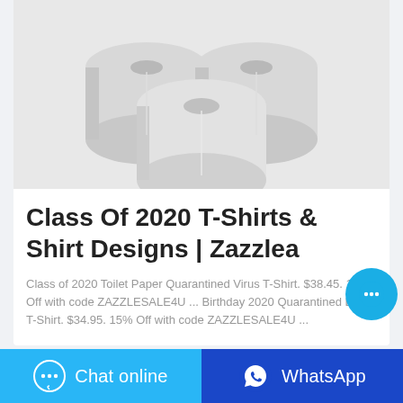[Figure (photo): Three rolls of white toilet paper stacked in a pyramid on a white/light gray background]
Class Of 2020 T-Shirts & Shirt Designs | Zazzlea
Class of 2020 Toilet Paper Quarantined Virus T-Shirt. $38.45. 15% Off with code ZAZZLESALE4U ... Birthday 2020 Quarantined Baby T-Shirt. $34.95. 15% Off with code ZAZZLESALE4U ...